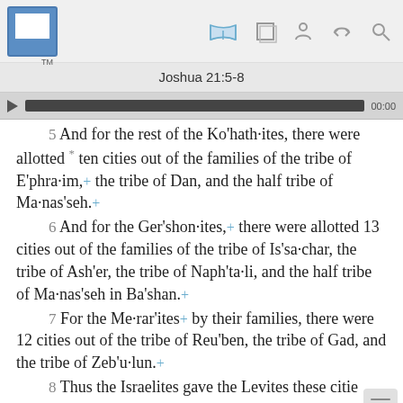Joshua 21:5-8
5  And for the rest of the Ko'hath·ites, there were allotted * ten cities out of the families of the tribe of E'phra·im,+ the tribe of Dan, and the half tribe of Ma·nas'seh.+
6  And for the Ger'shon·ites,+ there were allotted 13 cities out of the families of the tribe of Is'sa·char, the tribe of Ash'er, the tribe of Naph'ta·li, and the half tribe of Ma·nas'seh in Ba'shan.+
7  For the Me·rar'ites+ by their families, there were 12 cities out of the tribe of Reu'ben, the tribe of Gad, and the tribe of Zeb'u·lun.+
8  Thus the Israelites gave the Levites these cities and their pastures by lot, just as Jehovah had